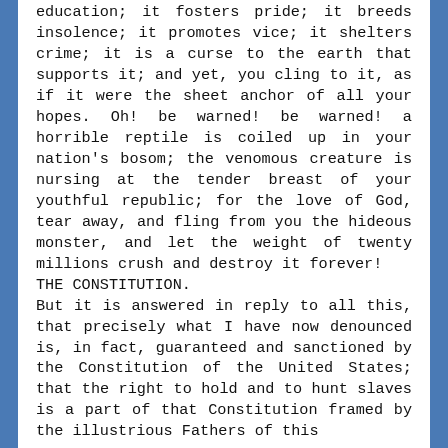education; it fosters pride; it breeds insolence; it promotes vice; it shelters crime; it is a curse to the earth that supports it; and yet, you cling to it, as if it were the sheet anchor of all your hopes. Oh! be warned! be warned! a horrible reptile is coiled up in your nation's bosom; the venomous creature is nursing at the tender breast of your youthful republic; for the love of God, tear away, and fling from you the hideous monster, and let the weight of twenty millions crush and destroy it forever!
THE CONSTITUTION.
But it is answered in reply to all this, that precisely what I have now denounced is, in fact, guaranteed and sanctioned by the Constitution of the United States; that the right to hold and to hunt slaves is a part of that Constitution framed by the illustrious Fathers of this